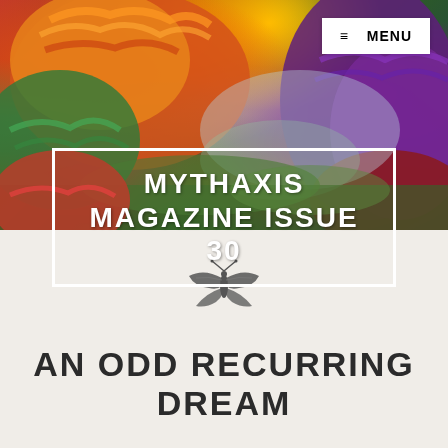[Figure (illustration): Colorful fantasy illustration of large bison-like creatures with vibrant multicolored fur in shades of orange, green, purple, and red, set in a lush fantastical landscape]
MYTHAXIS MAGAZINE ISSUE 30
≡ MENU
[Figure (illustration): Small decorative moth/bat tribal tattoo-style logo icon in dark gray]
AN ODD RECURRING DREAM